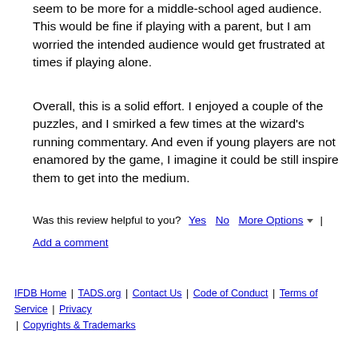seem to be more for a middle-school aged audience. This would be fine if playing with a parent, but I am worried the intended audience would get frustrated at times if playing alone.
Overall, this is a solid effort. I enjoyed a couple of the puzzles, and I smirked a few times at the wizard's running commentary. And even if young players are not enamored by the game, I imagine it could be still inspire them to get into the medium.
Was this review helpful to you? Yes No More Options ▾ | Add a comment
IFDB Home | TADS.org | Contact Us | Code of Conduct | Terms of Service | Privacy | Copyrights & Trademarks